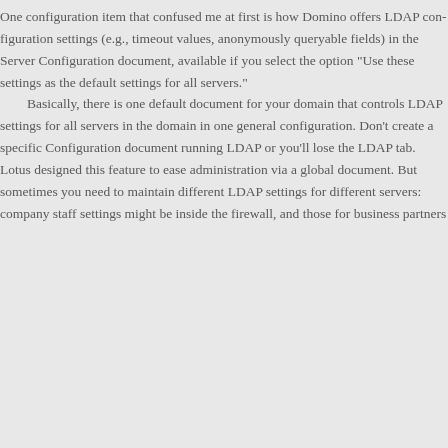One configuration item that confused me at first is how Domino offers LDAP configuration settings (e.g., timeout values, anonymously queryable fields) in the Server Configuration document, available if you select the option "Use these settings as the default settings for all servers."
	Basically, there is one default document for your domain that controls LDAP settings for all servers in the domain in one general configuration. Don't create a specific Configuration document running LDAP or you'll lose the LDAP tab. Lotus designed this feature to ease administration via a global document. But sometimes you need to maintain different LDAP settings for different servers: company staff settings might be inside the firewall, and those for business partners